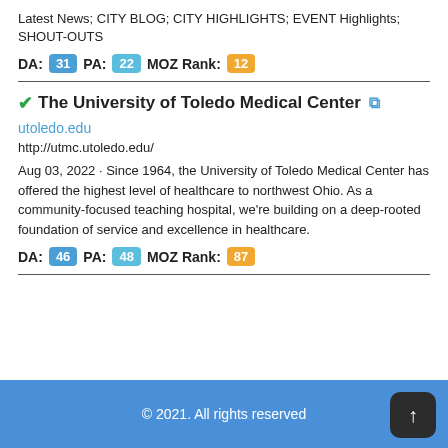Latest News; CITY BLOG; CITY HIGHLIGHTS; EVENT Highlights; SHOUT-OUTS
DA: 31 PA: 22 MOZ Rank: 12
The University of Toledo Medical Center
utoledo.edu
http://utmc.utoledo.edu/
Aug 03, 2022 · Since 1964, the University of Toledo Medical Center has offered the highest level of healthcare to northwest Ohio. As a community-focused teaching hospital, we're building on a deep-rooted foundation of service and excellence in healthcare.
DA: 46 PA: 48 MOZ Rank: 87
© 2021. All rights reserved